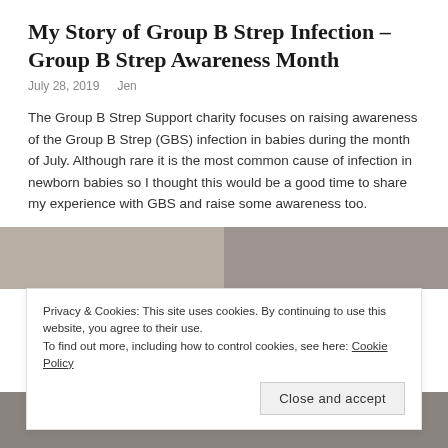My Story of Group B Strep Infection – Group B Strep Awareness Month
July 28, 2019   Jen
The Group B Strep Support charity focuses on raising awareness of the Group B Strep (GBS) infection in babies during the month of July. Although rare it is the most common cause of infection in newborn babies so I thought this would be a good time to share my experience with GBS and raise some awareness too.
[Figure (photo): Two-panel photograph strip, partially visible at top of page]
Privacy & Cookies: This site uses cookies. By continuing to use this website, you agree to their use.
To find out more, including how to control cookies, see here: Cookie Policy
Close and accept
[Figure (photo): Photograph partially visible at bottom of page]